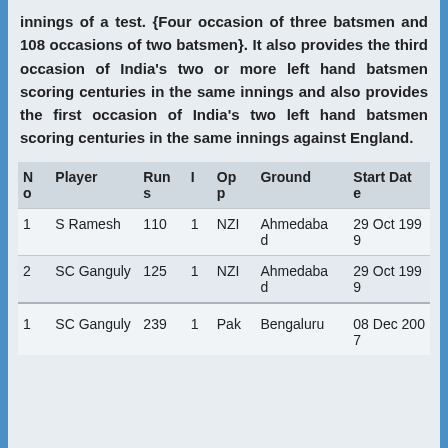innings of a test. {Four occasion of three batsmen and 108 occasions of two batsmen}. It also provides the third occasion of India's two or more left hand batsmen scoring centuries in the same innings and also provides the first occasion of India's two left hand batsmen scoring centuries in the same innings against England.
| No | Player | Runs | I | Opp | Ground | Start Date |
| --- | --- | --- | --- | --- | --- | --- |
| 1 | S Ramesh | 110 | 1 | NZI | Ahmedabad | 29 Oct 1999 |
| 2 | SC Ganguly | 125 | 1 | NZI | Ahmedabad | 29 Oct 1999 |
| 1 | SC Ganguly | 239 | 1 | Pak | Bengaluru | 08 Dec 2007 |